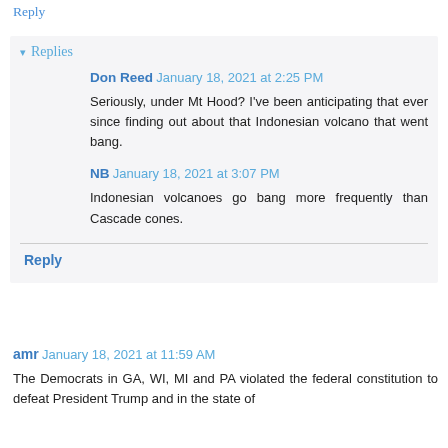Reply
Replies
Don Reed  January 18, 2021 at 2:25 PM
Seriously, under Mt Hood? I've been anticipating that ever since finding out about that Indonesian volcano that went bang.
NB  January 18, 2021 at 3:07 PM
Indonesian volcanoes go bang more frequently than Cascade cones.
Reply
amr  January 18, 2021 at 11:59 AM
The Democrats in GA, WI, MI and PA violated the federal constitution to defeat President Trump and in the state of